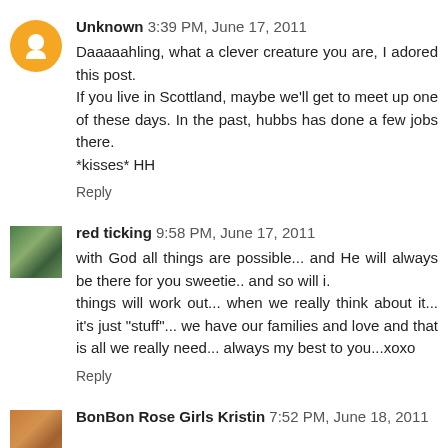Unknown 3:39 PM, June 17, 2011
Daaaaahling, what a clever creature you are, I adored this post.
If you live in Scottland, maybe we'll get to meet up one of these days. In the past, hubbs has done a few jobs there.
*kisses* HH
Reply
red ticking 9:58 PM, June 17, 2011
with God all things are possible... and He will always be there for you sweetie.. and so will i.
things will work out... when we really think about it... it's just "stuff"... we have our families and love and that is all we really need... always my best to you...xoxo
Reply
BonBon Rose Girls Kristin 7:52 PM, June 18, 2011